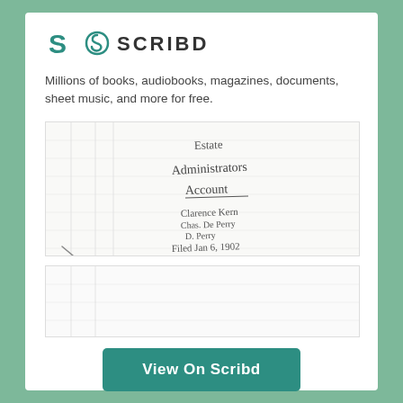[Figure (logo): Scribd logo: teal S icon followed by SCRIBD text in bold]
Millions of books, audiobooks, magazines, documents, sheet music, and more for free.
[Figure (photo): Scanned historical handwritten document page showing 'Estate Administrators Account' with names and 'Filed Jan 6, 1902']
[Figure (photo): Partially visible second scanned document page, mostly blank white]
View On Scribd